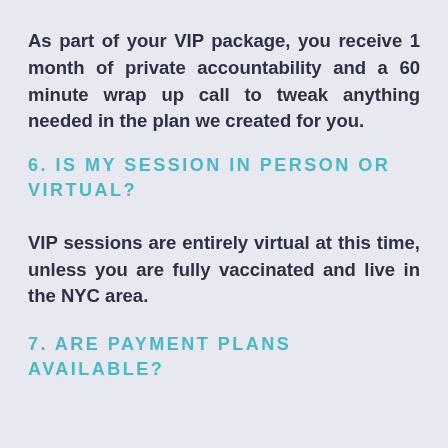As part of your VIP package, you receive 1 month of private accountability and a 60 minute wrap up call to tweak anything needed in the plan we created for you.
6. IS MY SESSION IN PERSON OR VIRTUAL?
VIP sessions are entirely virtual at this time, unless you are fully vaccinated and live in the NYC area.
7. ARE PAYMENT PLANS AVAILABLE?